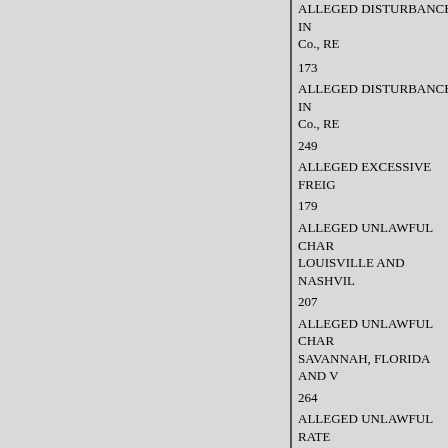ALLEGED DISTURBANCE IN Co., RE
173
ALLEGED EXCESSIVE FREIG
179
ALLEGED UNLAWFUL CHAR LOUISVILLE AND NASHVIL
207
ALLEGED UNLAWFUL CHAR SAVANNAH, FLORIDA AND V
264
ALLEGED UNLAWFUL RATE TON BY THE KANSAS CITY,
ALLEGED UNLAWFUL RATE AND GRAIN PRODUCTS Co., RE
237
ALLEGED VIOLATIONS OF T Co., RE